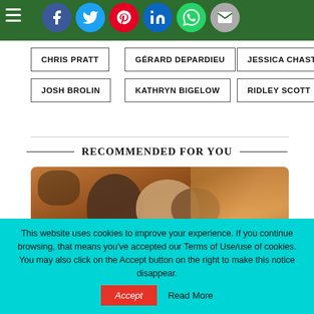[Figure (other): Social media share icons: Facebook, Twitter, Pinterest, LinkedIn, WhatsApp, Email on green background bar with hamburger menu]
CHRIS PRATT
GÉRARD DEPARDIEU
JESSICA CHASTAIN
JOSH BROLIN
KATHRYN BIGELOW
RIDLEY SCOTT
RECOMMENDED FOR YOU
[Figure (photo): Movie still showing two people close together against a desert/outdoor background]
This website uses cookies to improve your experience. If you continue browsing, that means you've accepted our Terms of Use/use of cookies. You may also click on the Accept button on the right to make this notice disappear.